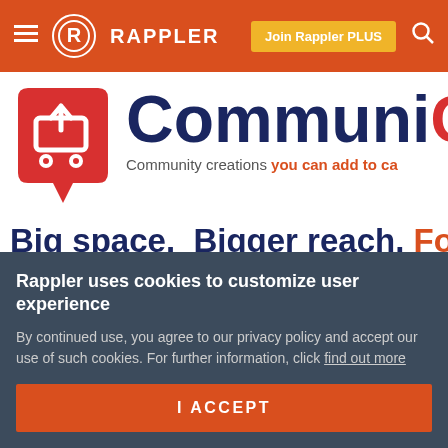RAPPLER — Join Rappler PLUS
[Figure (logo): CommuniCart logo — red speech bubble with shopping cart icon, followed by 'Communi' text in dark navy blue (truncated, continues off-page). Subtitle: 'Community creations you can add to ca...' in gray and red.]
Big space.  Bigger reach.  For sm...
Advertise wit...
ENTERTAINMENT NEWS
Rappler uses cookies to customize user experience
By continued use, you agree to our privacy policy and accept our use of such cookies. For further information, click find out more
I ACCEPT